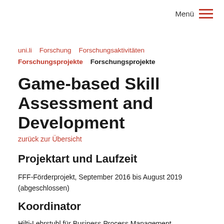Menü
uni.li   Forschung   Forschungsaktivitäten   Forschungsprojekte   Forschungsprojekte
Game-based Skill Assessment and Development
zurück zur Übersicht
Projektart und Laufzeit
FFF-Förderprojekt, September 2016 bis August 2019 (abgeschlossen)
Koordinator
Hilti-Lehrstuhl für Business Process Management